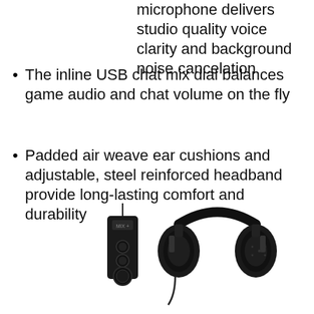microphone delivers studio quality voice clarity and background noise cancelation
The inline USB chat mix dial balances game audio and chat volume on the fly
Padded air weave ear cushions and adjustable, steel reinforced headband provide long-lasting comfort and durability
[Figure (photo): Product photo showing a Razer gaming headset (black over-ear headphones) alongside a USB chat mix dongle/controller, both in black on white background]